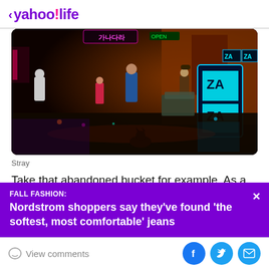< yahoo!life
[Figure (photo): Cyberpunk-style city alley at night with neon signs, people, and a cat in the foreground — screenshot from the game Stray]
Stray
Take that abandoned bucket for example. As a cat, players can pick it up with the handle in their mouth and
[Figure (infographic): Purple promotional banner: FALL FASHION: Nordstrom shoppers say they've found 'the softest, most comfortable' jeans]
View comments